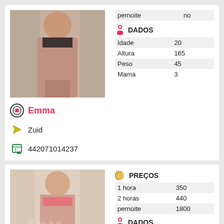[Figure (photo): Profile photo of Emma - woman in swimwear from behind]
|  |  |
| --- | --- |
| pernoite | no |
| Idade | 20 |
| Altura | 165 |
| Peso | 45 |
| Mama | 3 |
Emma
Zuid
442071014237
[Figure (photo): Profile photo of Amber - woman in pink bikini, Sapphire agency watermark]
|  |  |
| --- | --- |
| 1 hora | 350 |
| 2 horas | 440 |
| pernoite | 1800 |
| Idade | 23 |
| Altura | 165 |
| Peso | 50 |
| Mama | 3 |
Amber